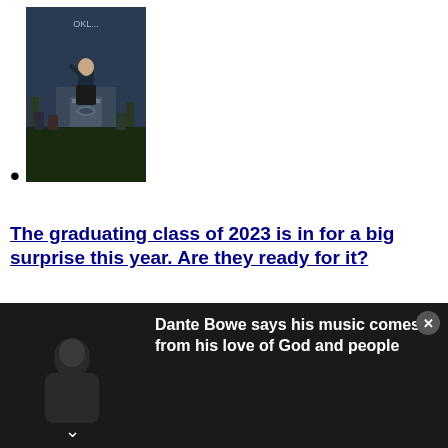[Figure (photo): Photo of a person speaking at a podium at a graduation ceremony, with audience members seated behind them.]
•
The graduating class of 2023 is in for a big surprise this year. Are they ready for it?
Popular in the Community
[Figure (screenshot): Video player overlay showing a dark background with a figure, an error message reading 'The media could not be loaded, either because the server or network failed or because the format is not supported.' and text 'Dante Bowe says his music comes from his love of God and people']